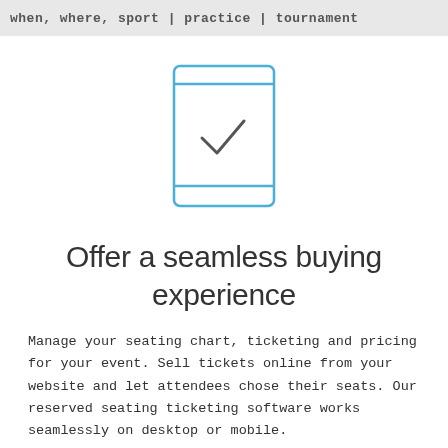when, where, sport | practice | tournament
[Figure (illustration): Mobile phone icon outline in blue with a dashed center section and a checkmark inside, representing a ticketing/mobile app interface]
Offer a seamless buying experience
Manage your seating chart, ticketing and pricing for your event. Sell tickets online from your website and let attendees chose their seats. Our reserved seating ticketing software works seamlessly on desktop or mobile.